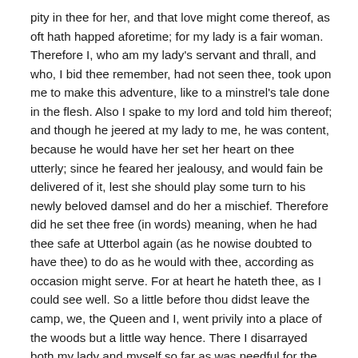pity in thee for her, and that love might come thereof, as oft hath happed aforetime; for my lady is a fair woman. Therefore I, who am my lady's servant and thrall, and who, I bid thee remember, had not seen thee, took upon me to make this adventure, like to a minstrel's tale done in the flesh. Also I spake to my lord and told him thereof; and though he jeered at my lady to me, he was content, because he would have her set her heart on thee utterly; since he feared her jealousy, and would fain be delivered of it, lest she should play some turn to his newly beloved damsel and do her a mischief. Therefore did he set thee free (in words) meaning, when he had thee safe at Utterbol again (as he nowise doubted to have thee) to do as he would with thee, according as occasion might serve. For at heart he hateth thee, as I could see well. So a little before thou didst leave the camp, we, the Queen and I, went privily into a place of the woods but a little way hence. There I disarrayed both my lady and myself so far as was needful for the playing out the play which was to have seemed to thee a real adventure. Then